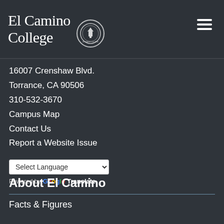[Figure (logo): El Camino College logo with seal — white serif text 'El Camino College' and a circular seal emblem]
16007 Crenshaw Blvd.
Torrance, CA 90506
310-532-3670
Campus Map
Contact Us
Report a Website Issue
Select Language
Powered by Google Translate
About El Camino
Facts & Figures